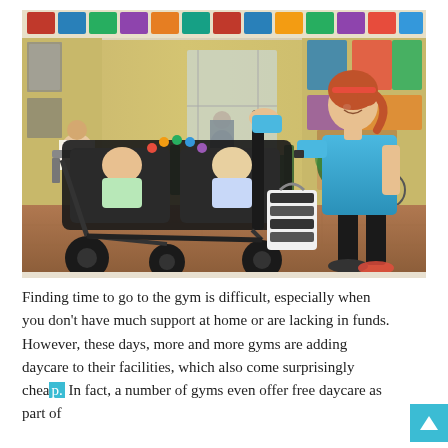[Figure (photo): A woman in a blue shirt and black shorts pushes a double baby stroller with two infants inside through what appears to be the lobby/common area of a gym. The gym has yellow walls with colorful posters and signs, and there are people seated in the background near workout equipment.]
Finding time to go to the gym is difficult, especially when you don't have much support at home or are lacking in funds. However, these days, more and more gyms are adding daycare to their facilities, which also come surprisingly cheap. In fact, a number of gyms even offer free daycare as part of